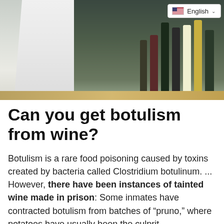[Figure (photo): Photo of a chef in white coat with wine bottles in background, with a language selector showing English in the top right corner]
Can you get botulism from wine?
Botulism is a rare food poisoning caused by toxins created by bacteria called Clostridium botulinum. ... However, there have been instances of tainted wine made in prison: Some inmates have contracted botulism from batches of “pruno,” where potatoes have usually been the culprit.